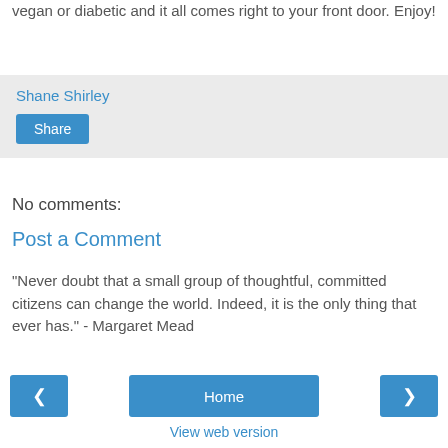vegan or diabetic and it all comes right to your front door. Enjoy!
Shane Shirley
Share
No comments:
Post a Comment
"Never doubt that a small group of thoughtful, committed citizens can change the world. Indeed, it is the only thing that ever has." - Margaret Mead
Home
View web version
Powered by Blogger.